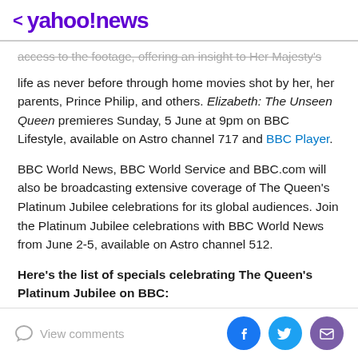< yahoo!news
access to the footage, offering an insight to Her Majesty's life as never before through home movies shot by her, her parents, Prince Philip, and others. Elizabeth: The Unseen Queen premieres Sunday, 5 June at 9pm on BBC Lifestyle, available on Astro channel 717 and BBC Player.
BBC World News, BBC World Service and BBC.com will also be broadcasting extensive coverage of The Queen's Platinum Jubilee celebrations for its global audiences. Join the Platinum Jubilee celebrations with BBC World News from June 2-5, available on Astro channel 512.
Here's the list of specials celebrating The Queen's Platinum Jubilee on BBC:
View comments